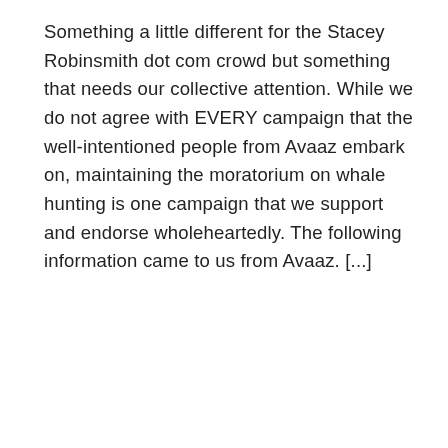Something a little different for the Stacey Robinsmith dot com crowd but something that needs our collective attention. While we do not agree with EVERY campaign that the well-intentioned people from Avaaz embark on, maintaining the moratorium on whale hunting is one campaign that we support and endorse wholeheartedly. The following information came to us from Avaaz. [...]
READ MORE